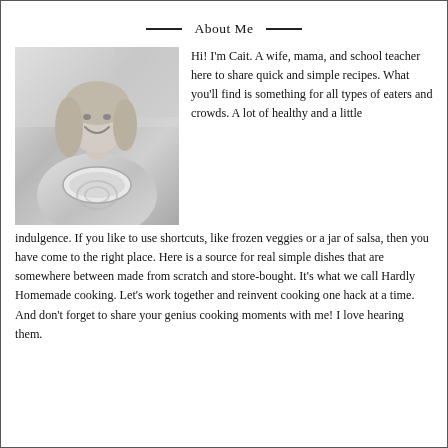About Me
[Figure (photo): Black and white photo of a smiling woman with long blonde hair, wearing a tie-dye t-shirt, holding a plate of food in a kitchen setting.]
Hi! I'm Cait. A wife, mama, and school teacher here to share quick and simple recipes. What you'll find is something for all types of eaters and crowds. A lot of healthy and a little indulgence. If you like to use shortcuts, like frozen veggies or a jar of salsa, then you have come to the right place. Here is a source for real simple dishes that are somewhere between made from scratch and store-bought. It's what we call Hardly Homemade cooking. Let's work together and reinvent cooking one hack at a time. And don't forget to share your genius cooking moments with me! I love hearing them.